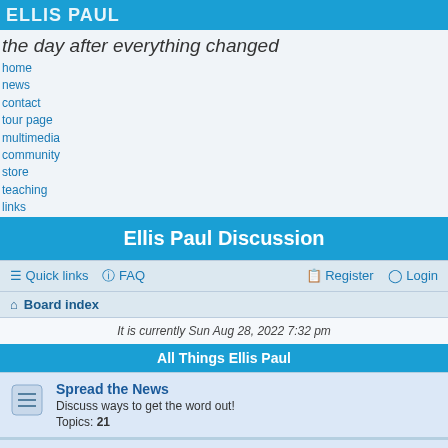ELLIS PAUL
the day after everything changed
home
news
contact
tour page
multimedia
community
store
teaching
links
Ellis Paul Discussion
Quick links   FAQ   Register   Login
Board index
It is currently Sun Aug 28, 2022 7:32 pm
All Things Ellis Paul
Spread the News
Discuss ways to get the word out!
Topics: 21
Breakin' Through the Radio
Post messages about Ellis Paul's music, CDs, lyrics, etc. here.
Moderator: Moderator
Topics: 233
2000 Miles